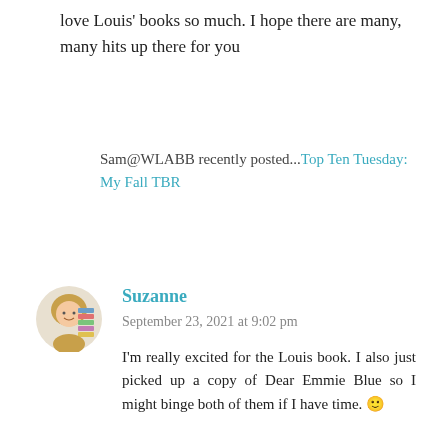love Louis' books so much. I hope there are many, many hits up there for you
Sam@WLABB recently posted...Top Ten Tuesday: My Fall TBR
Suzanne
September 23, 2021 at 9:02 pm
I'm really excited for the Louis book. I also just picked up a copy of Dear Emmie Blue so I might binge both of them if I have time. 🙂
This site uses cookies. By continuing to browse the site, you are agreeing to our use of cookies and our privacy policy.
OK
Learn more
Sh...
September 24, 2021 at 1:44 pm